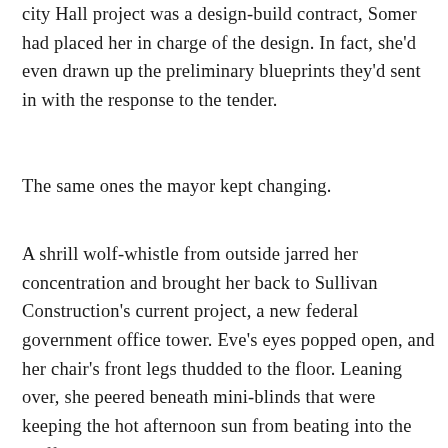city Hall project was a design-build contract, Somer had placed her in charge of the design. In fact, she'd even drawn up the preliminary blueprints they'd sent in with the response to the tender.
The same ones the mayor kept changing.
A shrill wolf-whistle from outside jarred her concentration and brought her back to Sullivan Construction's current project, a new federal government office tower. Eve's eyes popped open, and her chair's front legs thudded to the floor. Leaning over, she peered beneath mini-blinds that were keeping the hot afternoon sun from beating into the stuffy, portable trailer that served as the on-site